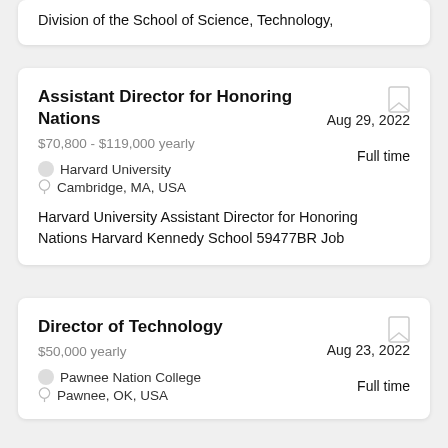Division of the School of Science, Technology,
Assistant Director for Honoring Nations
$70,800 - $119,000 yearly
Aug 29, 2022
Full time
Harvard University
Cambridge, MA, USA
Harvard University Assistant Director for Honoring Nations Harvard Kennedy School 59477BR Job
Director of Technology
$50,000 yearly
Aug 23, 2022
Full time
Pawnee Nation College
Pawnee, OK, USA